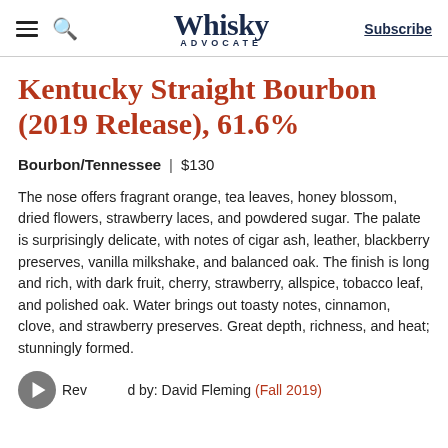Whisky Advocate | Subscribe
Kentucky Straight Bourbon (2019 Release), 61.6%
Bourbon/Tennessee  |  $130
The nose offers fragrant orange, tea leaves, honey blossom, dried flowers, strawberry laces, and powdered sugar. The palate is surprisingly delicate, with notes of cigar ash, leather, blackberry preserves, vanilla milkshake, and balanced oak. The finish is long and rich, with dark fruit, cherry, strawberry, allspice, tobacco leaf, and polished oak. Water brings out toasty notes, cinnamon, clove, and strawberry preserves. Great depth, richness, and heat; stunningly formed.
Reviewed by: David Fleming (Fall 2019)